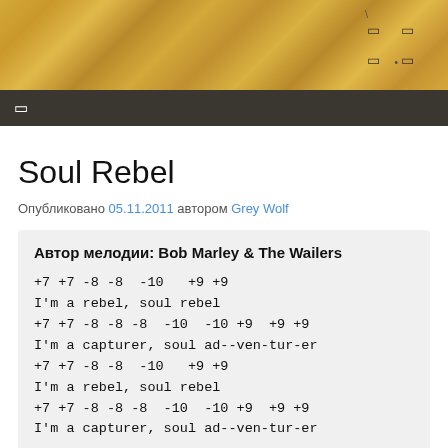[Figure (photo): Textured golden/sandy background header image with navigation icons]
☐
Soul Rebel
Опубликовано 05.11.2011 автором Grey Wolf
Автор мелодии: Bob Marley & The Wailers
+7 +7 -8 -8  -10   +9 +9
I'm a rebel, soul rebel
+7 +7 -8 -8 -8  -10  -10 +9  +9 +9
I'm a capturer, soul ad--ven-tur-er
+7 +7 -8 -8  -10   +9 +9
I'm a rebel, soul rebel
+7 +7 -8 -8 -8  -10  -10 +9  +9 +9
I'm a capturer, soul ad--ven-tur-er